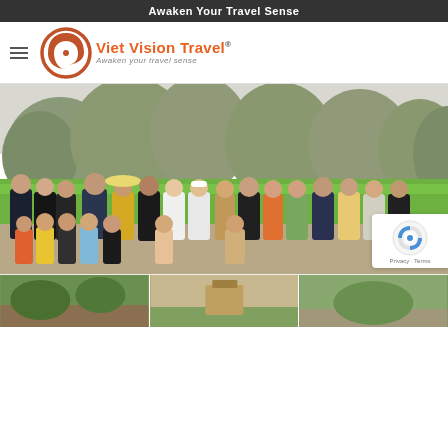Awaken Your Travel Sense
[Figure (logo): Viet Vision Travel logo with circular eye motif and tagline 'Awaken your travel sense']
[Figure (photo): Group of tourists posing in front of green rice fields with karst mountains in the background, Vietnam landscape.]
[Figure (photo): Three thumbnail images at the bottom of the page showing additional Vietnam travel scenes.]